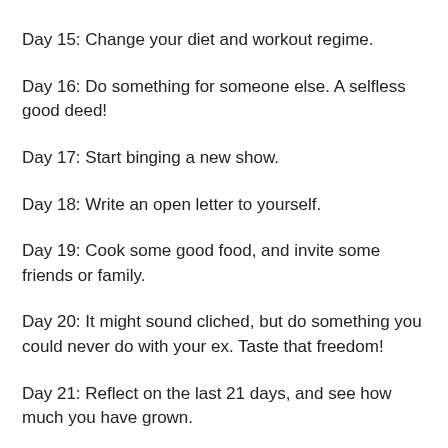Day 15: Change your diet and workout regime.
Day 16: Do something for someone else. A selfless good deed!
Day 17: Start binging a new show.
Day 18: Write an open letter to yourself.
Day 19: Cook some good food, and invite some friends or family.
Day 20: It might sound cliched, but do something you could never do with your ex. Taste that freedom!
Day 21: Reflect on the last 21 days, and see how much you have grown.